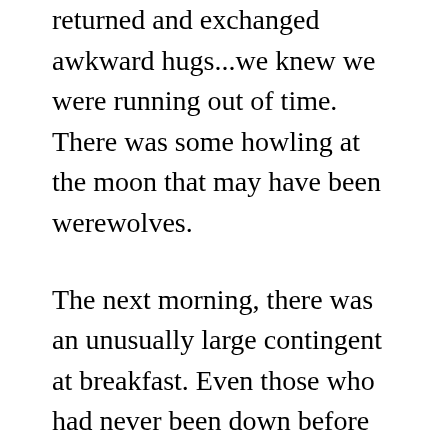returned and exchanged awkward hugs...we knew we were running out of time. There was some howling at the moon that may have been werewolves.
The next morning, there was an unusually large contingent at breakfast. Even those who had never been down before class were there for the last farewells. Then people started to drift away; there were planes to catch and schedules to keep. People helped others to pack and to move stuff. Slowly, in groups of two or three, people left.
At lunch, there were only a handful of diehards remaining, together with Ellen and Delia. And then that was over, too.